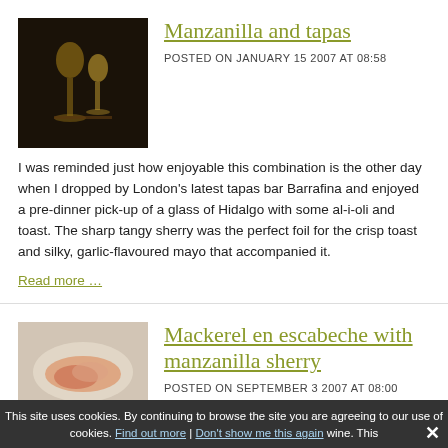[Figure (photo): Photo of wine glasses with sherry on a dark background]
Manzanilla and tapas
POSTED ON JANUARY 15 2007 AT 08:58
I was reminded just how enjoyable this combination is the other day when I dropped by London’s latest tapas bar Barrafina and enjoyed a pre-dinner pick-up of a glass of Hidalgo with some al-i-oli and toast. The sharp tangy sherry was the perfect foil for the crisp toast and silky, garlic-flavoured mayo that accompanied it.
Read more …
[Figure (photo): Photo of mackerel en escabeche dish on a plate]
Mackerel en escabeche with manzanilla sherry
POSTED ON SEPTEMBER 3 2007 AT 08:00
This site uses cookies. By continuing to browse the site you are agreeing to our use of cookies. Find out more | Don’t show me this again